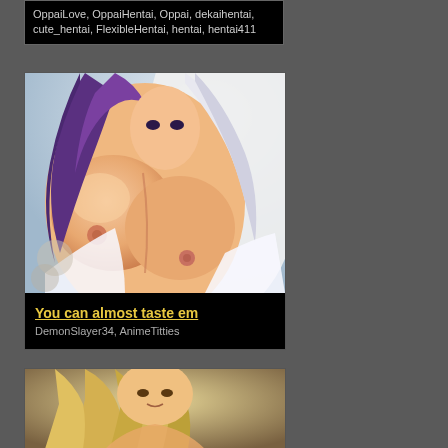OppaiLove, OppaiHentai, Oppai, dekaihentai, cute_hentai, FlexibleHentai, hentai, hentai411
[Figure (illustration): Anime illustration of a female character with purple hair, viewed from front, showing large bare breasts, wearing an open white top, light blue background]
You can almost taste em
DemonSlayer34, AnimeTitties
[Figure (illustration): Anime illustration of a female character with long blonde/light brown wavy hair, looking to the side with a slight smile, partially undressed, warm background tones]